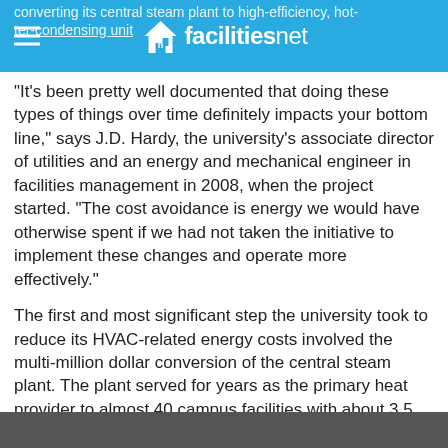facilitiesnet
"It's been pretty well documented that doing these types of things over time definitely impacts your bottom line," says J.D. Hardy, the university's associate director of utilities and an energy and mechanical engineer in facilities management in 2008, when the project started. "The cost avoidance is energy we would have otherwise spent if we had not taken the initiative to implement these changes and operate more effectively."
The first and most significant step the university took to reduce its HVAC-related energy costs involved the multi-million dollar conversion of the central steam plant. The plant served for years as the primary heat provider to almost 40 campus facilities with about 3.5 million square feet of space.
"Our steam plant was built in the mid-1920s and has a long history of providing heating and steam needs for the campus," Hardy says. "(The plant's) reached out with steam distribution through tunnels across campus, and with that type of distribution, there have been a lot of advances made. Over time, a system like that can become quite inefficient, even with the best maintenance practices."